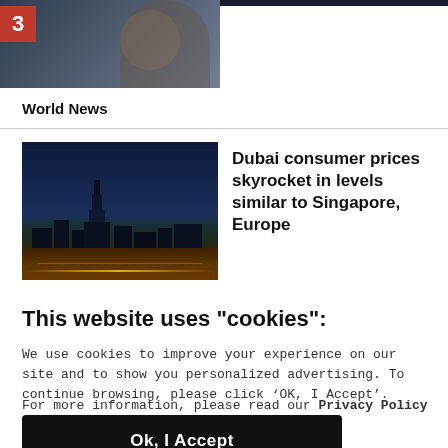[Figure (photo): Partial screenshot of news article thumbnail with person and number badge '3' in red]
World News
[Figure (photo): Night cityscape photo of Dubai skyline with Burj Khalifa and city lights]
Dubai consumer prices skyrocket in levels similar to Singapore, Europe
This website uses "cookies":
We use cookies to improve your experience on our site and to show you personalized advertising. To continue browsing, please click ‘OK, I Accept’.
For more information, please read our Privacy Policy
Ok, I Accept